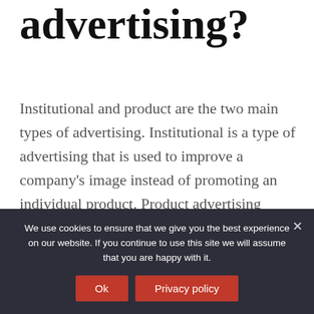advertising?
Institutional and product are the two main types of advertising. Institutional is a type of advertising that is used to improve a company's image instead of promoting an individual product. Product advertising promotes the product or service to the target market by focusing on the benefits.
What is a lifestyle
We use cookies to ensure that we give you the best experience on our website. If you continue to use this site we will assume that you are happy with it.